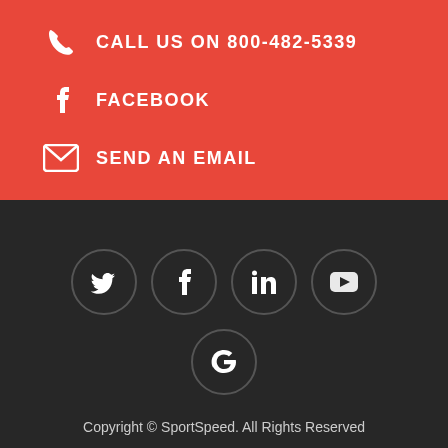CALL US ON 800-482-5339
FACEBOOK
SEND AN EMAIL
[Figure (infographic): Social media icons in dark circles: Twitter, Facebook, LinkedIn, YouTube, Google]
Copyright © SportSpeed. All Rights Reserved